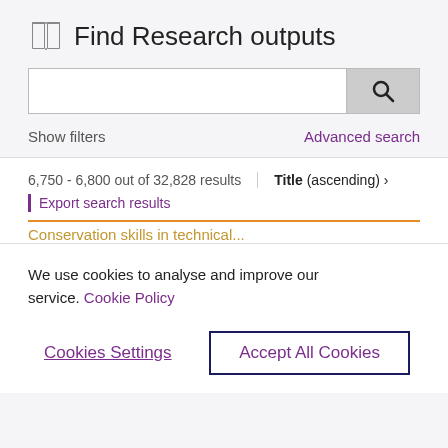Find Research outputs
[Figure (screenshot): Search bar with text input field and search button with magnifying glass icon]
Show filters
Advanced search
6,750 - 6,800 out of 32,828 results
Title (ascending) ›
Export search results
We use cookies to analyse and improve our service. Cookie Policy
Cookies Settings
Accept All Cookies